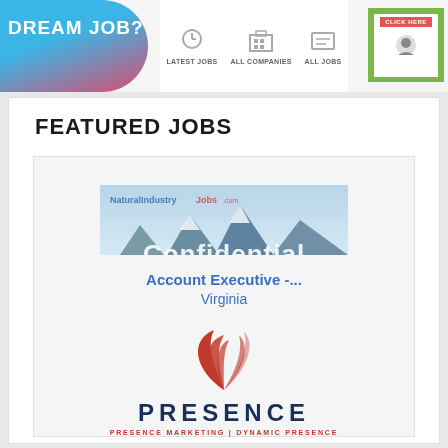[Figure (screenshot): Job board website header banner with 'DREAM JOB?' text on blue/pink gradient, navigation icons for Latest Jobs, All Companies, All Jobs, and a Click Here button]
FEATURED JOBS
[Figure (photo): Confidential job listing card showing a mountain lake landscape with 'Confidential' text overlay and NaturalIndustryJobs branding]
Account Executive -...
Virginia
[Figure (logo): Presence Marketing logo with stylized wing/leaf icon in red and company name PRESENCE with tagline PRESENCE MARKETING | DYNAMIC PRESENCE]